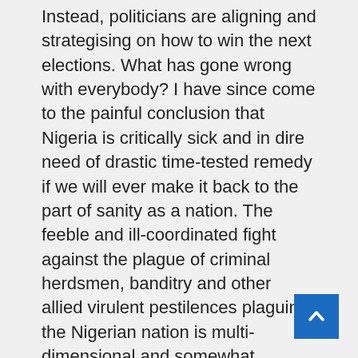Instead, politicians are aligning and strategising on how to win the next elections. What has gone wrong with everybody? I have since come to the painful conclusion that Nigeria is critically sick and in dire need of drastic time-tested remedy if we will ever make it back to the part of sanity as a nation. The feeble and ill-coordinated fight against the plague of criminal herdsmen, banditry and other allied virulent pestilences plaguing the Nigerian nation is multi-dimensional and somewhat intractable because of the support the criminal elements enjoy from among the oppressed and the highly placed individuals in the society. The insurgents are becoming more daring in their approach and operations partly because they have felt the weak pulse of response and defence from the government which clearly is expository of lack of will power or paucity of leadership. Otherwise, how does one explain, for instance, the